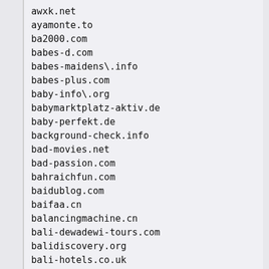awxk.net
ayamonte.to
ba2000.com
babes-d.com
babes-maidens\.info
babes-plus.com
baby-info\.org
babymarktplatz-aktiv.de
baby-perfekt.de
background-check.info
bad-movies.net
bad-passion.com
bahraichfun.com
baidublog.com
baifaa.cn
balancingmachine.cn
bali-dewadewi-tours.com
balidiscovery.org
bali-hotels.co.uk
balivillas.net